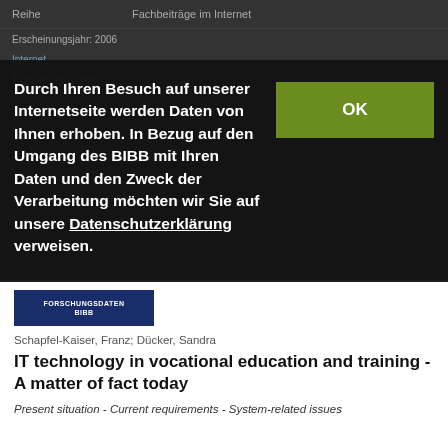Reihe	Fachbeiträge im Internet
Durch Ihren Besuch auf unserer Internetseite werden Daten von Ihnen erhoben. In Bezug auf den Umgang des BIBB mit Ihren Daten und den Zweck der Verarbeitung möchten wir Sie auf unsere Datenschutzerklärung verweisen.
OK
[Figure (logo): BIBB logo on dark blue background]
Schapfel-Kaiser, Franz; Dücker, Sandra
IT technology in vocational education and training - A matter of fact today
Present situation - Current requirements - System-related issues